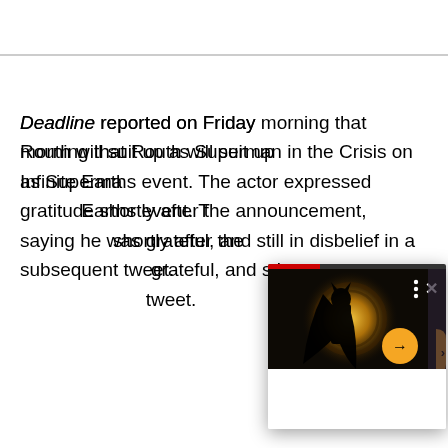Deadline reported on Friday morning that Routh will suit up as Superman in the Crisis on Infinite Earths event. The actor expressed gratitude shortly after the announcement, saying he was grateful, and still in disbelief in a subsequent tweet.
[Figure (screenshot): Embedded video player overlay showing a dark, dramatic scene of a caped figure (Batman) silhouetted against a glowing golden circular light. The player has a red progress bar at top, three-dot menu and X close button in top right, a yellow/orange circular arrow button in the lower right area, and a partial orange arrow button at the right edge. Below the video is a white panel area.]